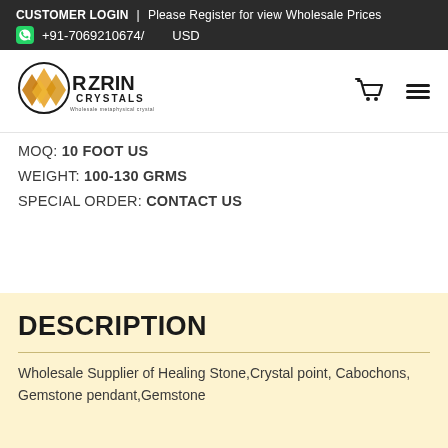CUSTOMER LOGIN  |  Please Register for view Wholesale Prices  +91-7069210674/  USD
[Figure (logo): Rozrin Crystals logo with orange crystal gems]
MOQ: 10 FOOT US
WEIGHT: 100-130 GRMS
SPECIAL ORDER: CONTACT US
DESCRIPTION
Wholesale Supplier of Healing Stone,Crystal point, Cabochons, Gemstone pendant,Gemstone